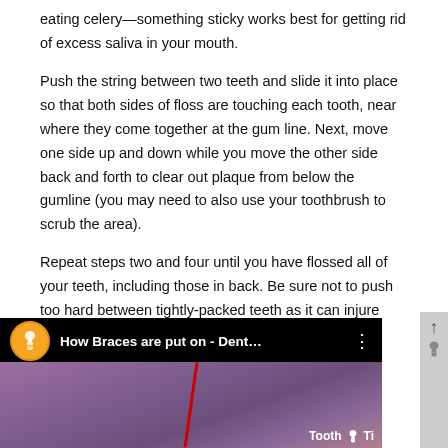eating celery—something sticky works best for getting rid of excess saliva in your mouth.
Push the string between two teeth and slide it into place so that both sides of floss are touching each tooth, near where they come together at the gum line. Next, move one side up and down while you move the other side back and forth to clear out plaque from below the gumline (you may need to also use your toothbrush to scrub the area).
Repeat steps two and four until you have flossed all of your teeth, including those in back. Be sure not to push too hard between tightly-packed teeth as it can injure gums!
[Figure (screenshot): Video thumbnail showing 'How Braces are put on - Dent...' with a tooth icon logo, dental imagery in purple/pink tones with a red line, and 'Tooth Ti' branding in bottom right]